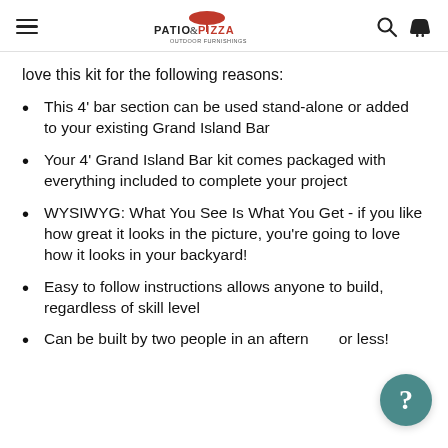Patio & Pizza Outdoor Furnishings
love this kit for the following reasons:
This 4' bar section can be used stand-alone or added to your existing Grand Island Bar
Your 4' Grand Island Bar kit comes packaged with everything included to complete your project
WYSIWYG: What You See Is What You Get - if you like how great it looks in the picture, you're going to love how it looks in your backyard!
Easy to follow instructions allows anyone to build, regardless of skill level
Can be built by two people in an afternoon or less!